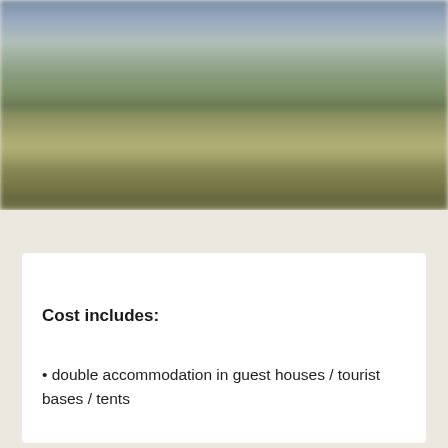[Figure (photo): Blurred outdoor landscape photo, possibly showing a dirt path or trail through savanna or grassland terrain, with muted olive-green and brown tones and a hazy sky.]
Cost includes:
• double accommodation in guest houses / tourist bases / tents